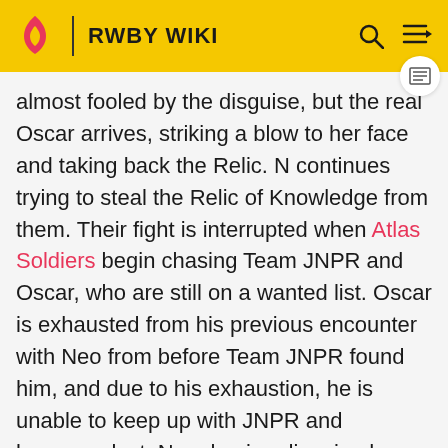RWBY WIKI
almost fooled by the disguise, but the real Oscar arrives, striking a blow to her face and taking back the Relic. N continues trying to steal the Relic of Knowledge from them. Their fight is interrupted when Atlas Soldiers begin chasing Team JNPR and Oscar, who are still on a wanted list. Oscar is exhausted from his previous encounter with Neo from before Team JNPR found him, and due to his exhaustion, he is unable to keep up with JNPR and becomes lost. Neo, having disguised herself as Nora, hides Oscar from the Atlas soldiers and steals the Lamp. She then flees, making it past Oscar and Jaune with her agility and then Ren by playing with his feelings for Nora. Due to more interference from Atlas soldiers, she manages to escape.